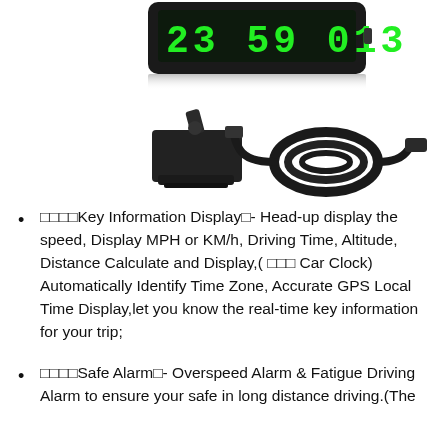[Figure (photo): Product photo showing a GPS HUD speedometer display with green LED digits showing time/speed, a black mounting stand/bracket, and a coiled flat USB cable on white background.]
🔷🔷🔷🔷Key Information Display🔷- Head-up display the speed, Display MPH or KM/h, Driving Time, Altitude, Distance Calculate and Display,( 🔷🔷🔷 Car Clock) Automatically Identify Time Zone, Accurate GPS Local Time Display,let you know the real-time key information for your trip;
🔷🔷🔷🔷Safe Alarm🔷- Overspeed Alarm & Fatigue Driving Alarm to ensure your safe in long distance driving.(The